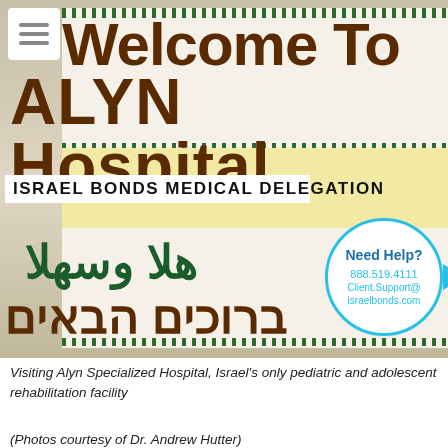[Figure (photo): Photo of a welcome banner at ALYN Hospital showing 'Welcome To ALYN Hospital', 'ISRAEL BONDS MEDICAL DELEGATION', Arabic text (Ahlan wa-Sahlan) and Hebrew text (Bruchim HaBaim - Welcome). A 'Need Help?' customer service circle overlay with phone 888.519.4111 and email Client.Support@israelbonds.com appears on the right side.]
Visiting Alyn Specialized Hospital, Israel's only pediatric and adolescent rehabilitation facility
(Photos courtesy of Dr. Andrew Hutter)